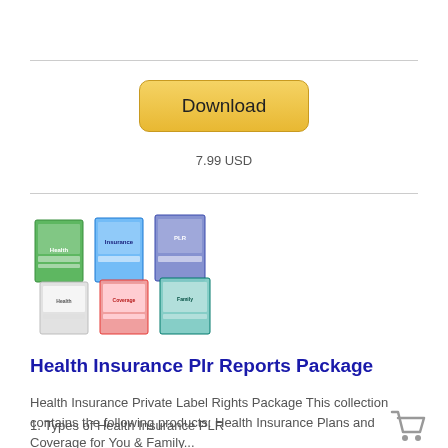[Figure (other): Download button - golden/yellow rounded rectangle button with text 'Download']
7.99 USD
[Figure (photo): Collection of 6 book/report covers arranged in two rows of three, showing health insurance related PLR report packages]
Health Insurance Plr Reports Package
Health Insurance Private Label Rights Package This collection contains the following products: Health Insurance Plans and Coverage for You & Family...
1. Types of Health Insurance PLR
[Figure (illustration): Shopping cart icon in gray]